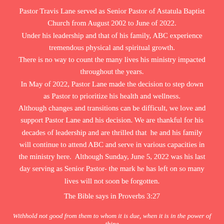Pastor Travis Lane served as Senior Pastor of Astatula Baptist Church from August 2002 to June of 2022. Under his leadership and that of his family, ABC experience tremendous physical and spiritual growth. There is no way to count the many lives his ministry impacted throughout the years.
In May of 2022, Pastor Lane made the decision to step down as Pastor to prioritize his health and wellness. Although changes and transitions can be difficult, we love and support Pastor Lane and his decision. We are thankful for his decades of leadership and are thrilled that he and his family will continue to attend ABC and serve in various capacities in the ministry here. Although Sunday, June 5, 2022 was his last day serving as Senior Pastor- the mark he has left on so many lives will not soon be forgotten.
The Bible says in Proverbs 3:27
Withhold not good from them to whom it is due, when it is in the power of thine